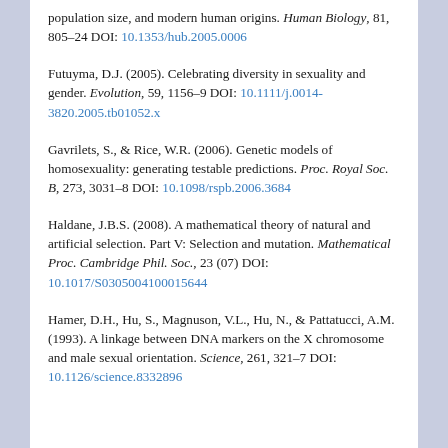population size, and modern human origins. Human Biology, 81, 805-24 DOI: 10.1353/hub.2005.0006
Futuyma, D.J. (2005). Celebrating diversity in sexuality and gender. Evolution, 59, 1156-9 DOI: 10.1111/j.0014-3820.2005.tb01052.x
Gavrilets, S., & Rice, W.R. (2006). Genetic models of homosexuality: generating testable predictions. Proc. Royal Soc. B, 273, 3031-8 DOI: 10.1098/rspb.2006.3684
Haldane, J.B.S. (2008). A mathematical theory of natural and artificial selection. Part V: Selection and mutation. Mathematical Proc. Cambridge Phil. Soc., 23 (07) DOI: 10.1017/S0305004100015644
Hamer, D.H., Hu, S., Magnuson, V.L., Hu, N., & Pattatucci, A.M. (1993). A linkage between DNA markers on the X chromosome and male sexual orientation. Science, 261, 321-7 DOI: 10.1126/science.8332896